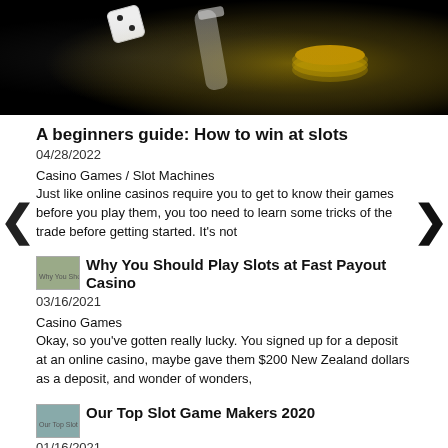[Figure (photo): Dark background image showing casino dice, poker chips, and related items in a dramatic gold and dark lighting]
A beginners guide: How to win at slots
04/28/2022
Casino Games / Slot Machines
Just like online casinos require you to get to know their games before you play them, you too need to learn some tricks of the trade before getting started. It's not
[Figure (photo): Thumbnail image for Why You Should Play Slots at Fast Payout Casino article]
Why You Should Play Slots at Fast Payout Casino
03/16/2021
Casino Games
Okay, so you've gotten really lucky. You signed up for a deposit at an online casino, maybe gave them $200 New Zealand dollars as a deposit, and wonder of wonders,
[Figure (photo): Thumbnail image for Our Top Slot Game Makers 2020 article]
Our Top Slot Game Makers 2020
01/16/2021
Slot Machines
With online gambling growing at an exponential rate, the amount of slot game makers has also begun to grow. In fact, just in the last 2 decades, there have been